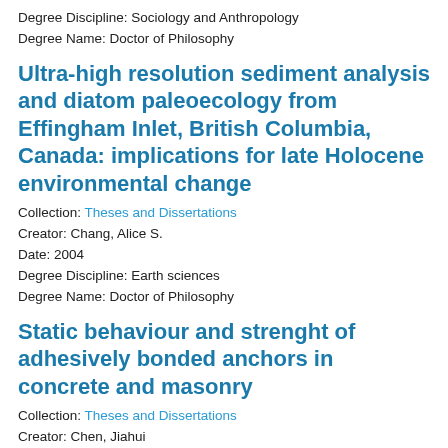Degree Discipline: Sociology and Anthropology
Degree Name: Doctor of Philosophy
Ultra-high resolution sediment analysis and diatom paleoecology from Effingham Inlet, British Columbia, Canada: implications for late Holocene environmental change
Collection: Theses and Dissertations
Creator: Chang, Alice S.
Date: 2004
Degree Discipline: Earth sciences
Degree Name: Doctor of Philosophy
Static behaviour and strenght of adhesively bonded anchors in concrete and masonry
Collection: Theses and Dissertations
Creator: Chen, Jiahui
Date: 2004
Degree Discipline: Engineering, Civil and Environmental